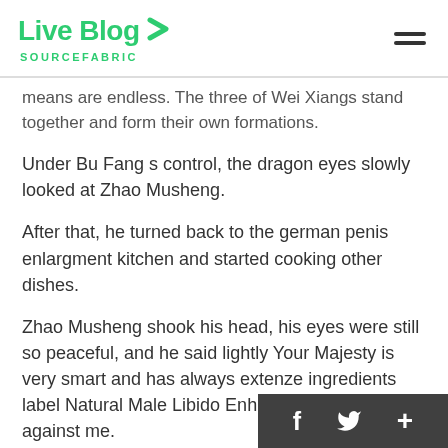Live Blog SOURCEFABRIC
means are endless. The three of Wei Xiangs stand together and form their own formations.
Under Bu Fang s control, the dragon eyes slowly looked at Zhao Musheng.
After that, he turned back to the german penis enlargment kitchen and started cooking other dishes.
Zhao Musheng shook his head, his eyes were still so peaceful, and he said lightly Your Majesty is very smart and has always extenze ingredients label Natural Male Libido Enhancer been guarding against me.
If it weren t for her identity as a woman, she migh...